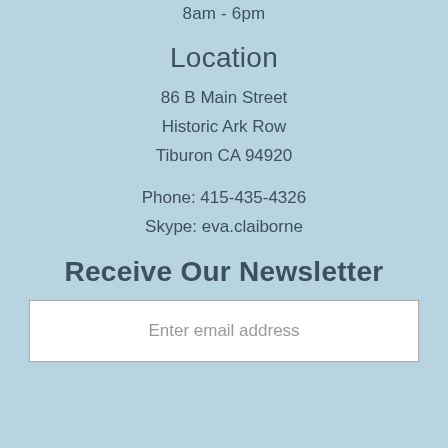8am - 6pm
Location
86 B Main Street
Historic Ark Row
Tiburon CA 94920
Phone: 415-435-4326
Skype: eva.claiborne
Receive Our Newsletter
Enter email address